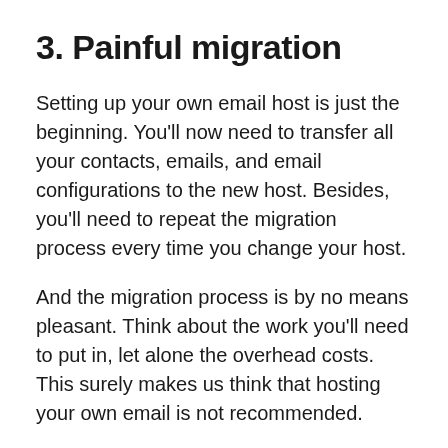3. Painful migration
Setting up your own email host is just the beginning. You’ll now need to transfer all your contacts, emails, and email configurations to the new host. Besides, you’ll need to repeat the migration process every time you change your host.
And the migration process is by no means pleasant. Think about the work you’ll need to put in, let alone the overhead costs. This surely makes us think that hosting your own email is not recommended.
4. Security concerns